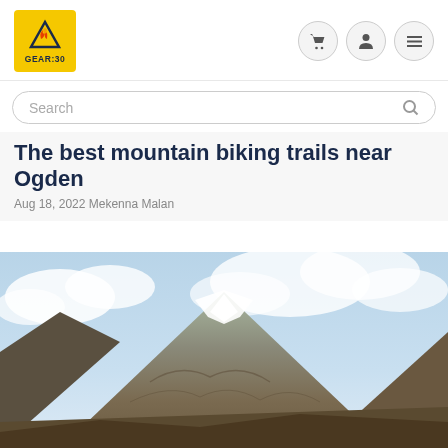[Figure (logo): GEAR:30 logo — yellow square with mountain/flame icon and GEAR:30 text]
[Figure (screenshot): Navigation icons: shopping cart, user profile, hamburger menu — circular grey buttons]
Search
The best mountain biking trails near Ogden
Aug 18, 2022 Mekenna Malan
[Figure (photo): Mountain landscape with snow-capped peak and brown rocky slopes under cloudy blue sky]